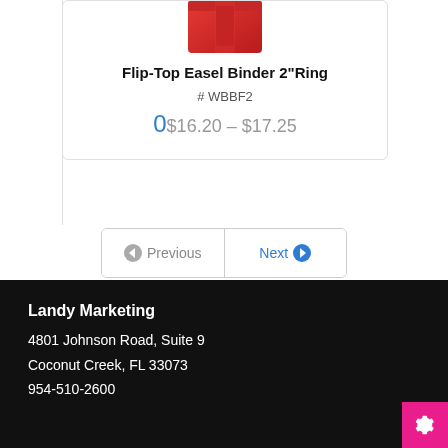[Figure (photo): Partial view of a red Flip-Top Easel Binder product image, cropped at the top of a product card]
Flip-Top Easel Binder 2"Ring
# WBBF2
0$16.20 – $17.25
Previous  Next
Landy Marketing
4801 Johnson Road, Suite 9
Coconut Creek, FL 33073
954-510-2600